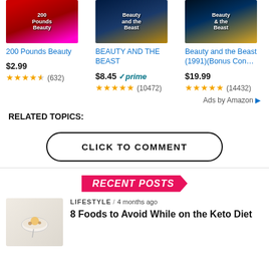[Figure (screenshot): Amazon ad row with three movie products: 200 Pounds Beauty ($2.99, 4.5 stars, 632 reviews), BEAUTY AND THE BEAST ($8.45 prime, 5 stars, 10472 reviews), Beauty and the Beast (1991)(Bonus Con... ($19.99, 5 stars, 14432 reviews). Ads by Amazon label at bottom right.]
RELATED TOPICS:
CLICK TO COMMENT
RECENT POSTS
LIFESTYLE / 4 months ago
8 Foods to Avoid While on the Keto Diet